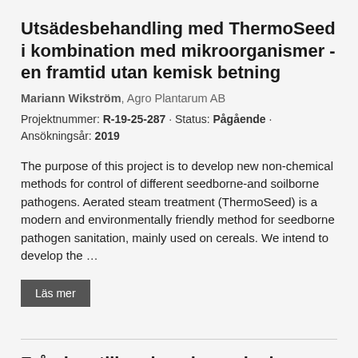Utsädesbehandling med ThermoSeed i kombination med mikroorganismer - en framtid utan kemisk betning
Mariann Wikström, Agro Plantarum AB
Projektnummer: R-19-25-287 · Status: Pågående · Ansökningsår: 2019
The purpose of this project is to develop new non-chemical methods for control of different seedborne-and soilborne pathogens. Aerated steam treatment (ThermoSeed) is a modern and environmentally friendly method for seedborne pathogen sanitation, mainly used on cereals. We intend to develop the …
Läs mer
Från hav till mule - alger minskar metanemissioner från mjölkkor